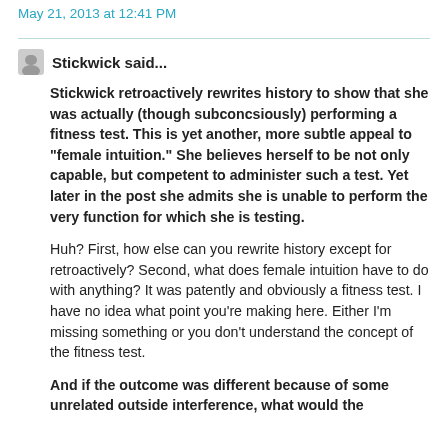May 21, 2013 at 12:41 PM
Stickwick said...
Stickwick retroactively rewrites history to show that she was actually (though subconcsiously) performing a fitness test. This is yet another, more subtle appeal to "female intuition." She believes herself to be not only capable, but competent to administer such a test. Yet later in the post she admits she is unable to perform the very function for which she is testing.
Huh? First, how else can you rewrite history except for retroactively? Second, what does female intuition have to do with anything? It was patently and obviously a fitness test. I have no idea what point you're making here. Either I'm missing something or you don't understand the concept of the fitness test.
And if the outcome was different because of some unrelated outside interference, what would the